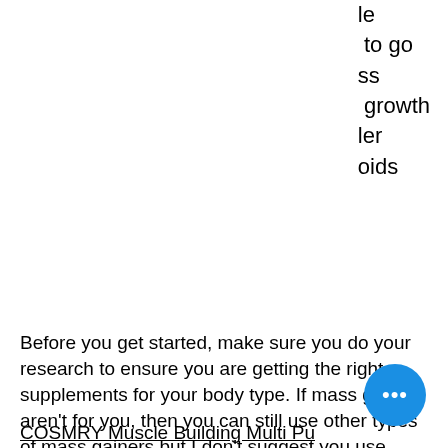le
to go
ss
growth
ler
oids
Before you get started, make sure you do your research to ensure you are getting the right supplements for your body type. If mass gainers aren't for you, then you can still use other types of mass gainers but I don't suggest you use them as your go-to mass gainers. To do this, I would like you to test several different mass gainers as a mix before picking the best one for your body type, day bodybuilding a 2800 calories. As an example we suggest you test the following three mass gainer:
COSMRY Muscle Building Multi Pu...